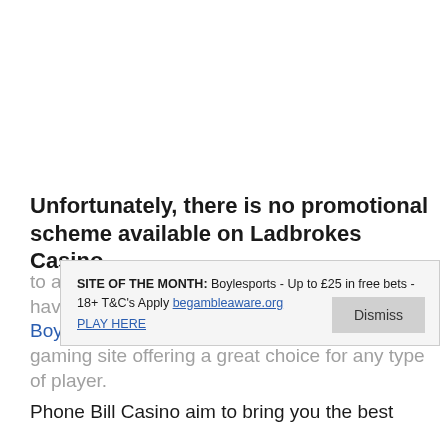Unfortunately, there is no promotional scheme available on Ladbrokes Casino
to assist us in advertising the site. As such, we have provided you with an alternative called Boylesports Casino, which is an impressive gaming site offering a great choice for any type of player.
[Figure (screenshot): Popup notification box: SITE OF THE MONTH: Boylesports - Up to £25 in free bets - 18+ T&C's Apply begambleaware.org with PLAY HERE link and a Dismiss button]
Phone Bill Casino aim to bring you the best